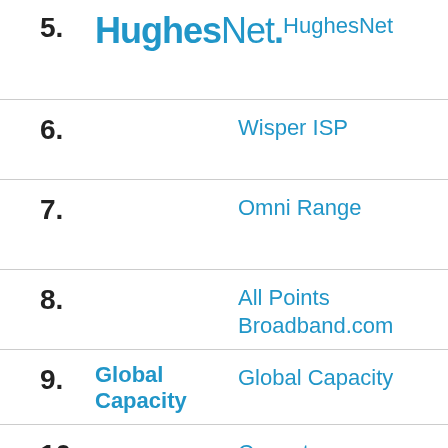5. HughesNet (logo) | HughesNet
6. Wisper ISP
7. Omni Range
8. All Points Broadband.com
9. Global Capacity | Global Capacity
10. Cogent Communications